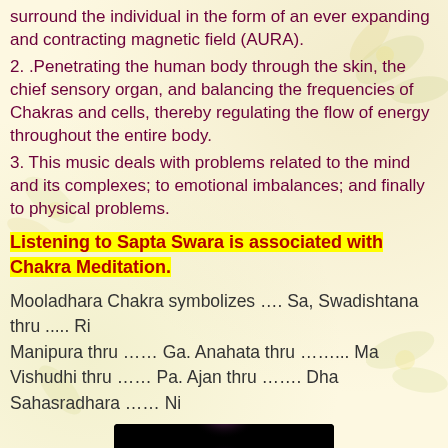surround the individual in the form of an ever expanding and contracting magnetic field (AURA).
2. .Penetrating the human body through the skin, the chief sensory organ, and balancing the frequencies of Chakras and cells, thereby regulating the flow of energy throughout the entire body.
3. This music deals with problems related to the mind and its complexes; to emotional imbalances; and finally to physical problems.
Listening to Sapta Swara is associated with Chakra Meditation.
Mooladhara Chakra symbolizes …. Sa, Swadishtana thru ..... Ri
Manipura thru …… Ga. Anahata thru ……... Ma
Vishudhi thru …… Pa. Ajan thru ……. Dha
Sahasradhara …… Ni
[Figure (photo): A stylized image of a meditating figure with chakra energy visualization on a black background, showing glowing purple and orange light around the body's energy centers.]